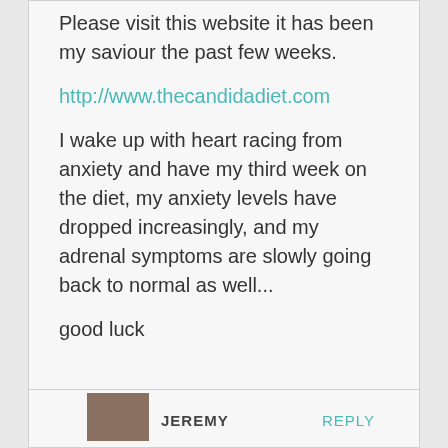Please visit this website it has been my saviour the past few weeks.
http://www.thecandidadiet.com
I wake up with heart racing from anxiety and have my third week on the diet, my anxiety levels have dropped increasingly, and my adrenal symptoms are slowly going back to normal as well...
good luck
JEREMY
REPLY